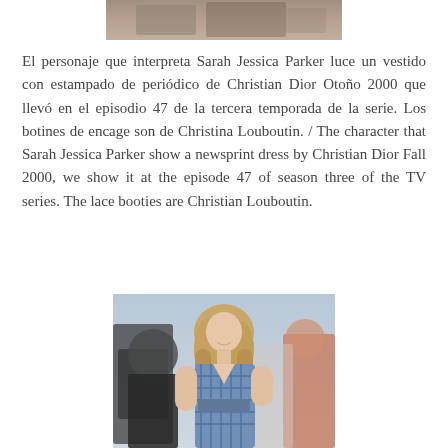[Figure (photo): Top portion of a photo, partially cropped, showing an outdoor scene with people]
El personaje que interpreta Sarah Jessica Parker luce un vestido con estampado de periódico de Christian Dior Otoño 2000 que llevó en el episodio 47 de la tercera temporada de la serie. Los botines de encage son de Christina Louboutin. / The character that Sarah Jessica Parker show a newsprint dress by Christian Dior Fall 2000, we show it at the episode 47 of season three of the TV series. The lace booties are Christian Louboutin.
[Figure (photo): Sarah Jessica Parker wearing a blue plaid dress walking outdoors, with people and photographers in the background]